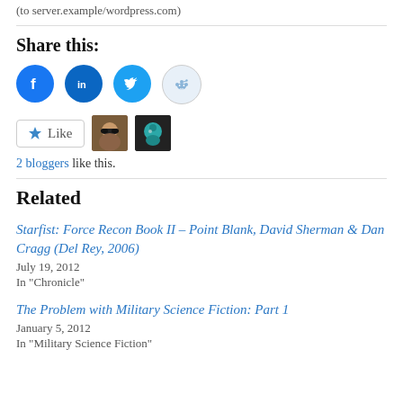(to server.example/wordpress.com)
Share this:
[Figure (illustration): Social sharing icons: Facebook (blue circle with f), LinkedIn (blue circle with in), Twitter (blue circle with bird), Reddit (light blue circle with alien mascot)]
[Figure (illustration): Like button with star icon and two blogger avatar thumbnails]
2 bloggers like this.
Related
Starfist: Force Recon Book II – Point Blank, David Sherman & Dan Cragg (Del Rey, 2006)
July 19, 2012
In "Chronicle"
The Problem with Military Science Fiction: Part 1
January 5, 2012
In "Military Science Fiction"